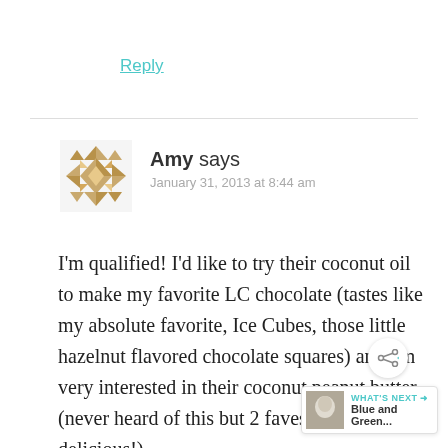Reply
[Figure (illustration): Decorative geometric avatar icon with golden/tan colored diamond and triangle pattern forming a snowflake-like shape]
Amy says
January 31, 2013 at 8:44 am
I’m qualified! I’d like to try their coconut oil to make my favorite LC chocolate (tastes like my absolute favorite, Ice Cubes, those little hazelnut flavored chocolate squares) and I’m very interested in their coconut peanut butter (never heard of this but 2 faves — must be delicious!).